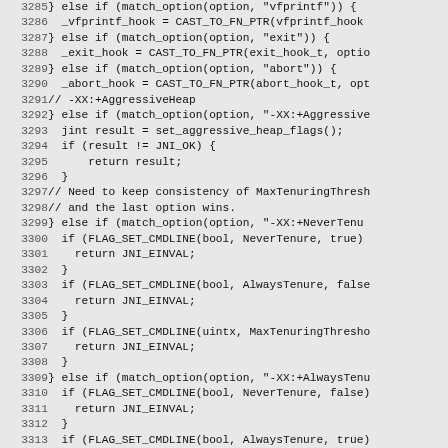[Figure (screenshot): Source code listing showing C++ code lines 3285-3315, with line numbers on the left and code on the right, on a light gray background using monospace font.]